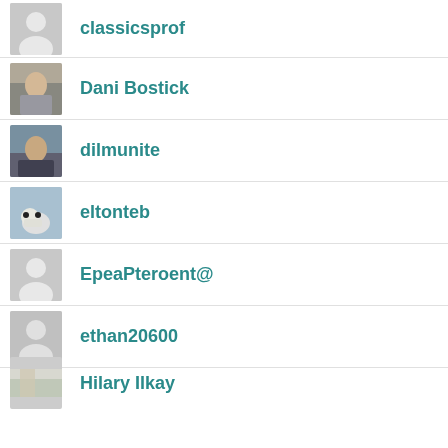classicsprof
Dani Bostick
dilmunite
eltonteb
EpeaPteroent@
ethan20600
Hilary Ilkay